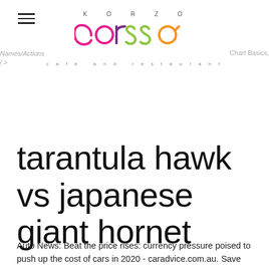KORZO corso cafe and restaurant
tarantula hawk vs japanese giant hornet
Auto News: Beat the price rises: currency pressure poised to push up the cost of cars in 2020 - caradvice.com.au. Save my